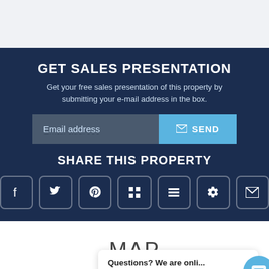GET SALES PRESENTATION
Get your free sales presentation of this property by submitting your e-mail address in the box.
Email address
SEND
SHARE THIS PROPERTY
MAP
Questions? We are onli...
Click here to chat!
[Figure (screenshot): Partial Google map view at bottom of page]